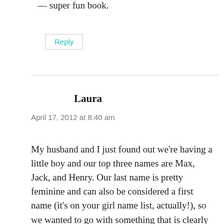— super fun book.
Reply
Laura
April 17, 2012 at 8:40 am
My husband and I just found out we're having a little boy and our top three names are Max, Jack, and Henry. Our last name is pretty feminine and can also be considered a first name (it's on your girl name list, actually!), so we wanted to go with something that is clearly a first name (versus something like Thomas which could be mistaken for a last name) and something that sounds masculine. Right now